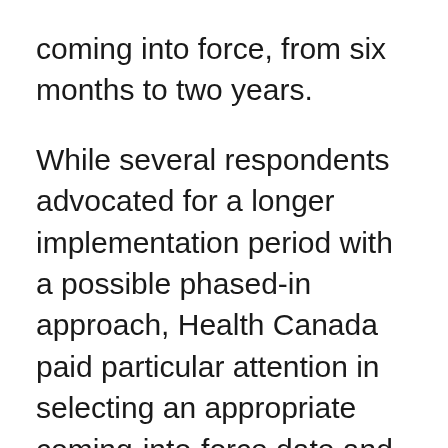coming into force, from six months to two years.
While several respondents advocated for a longer implementation period with a possible phased-in approach, Health Canada paid particular attention in selecting an appropriate coming-into-force date and remains committed to its goal for the regulations to come into effect on December 16, 2019. Health Canada is committed to working with hospitals to help ensure that they have all the information they need and are prepared